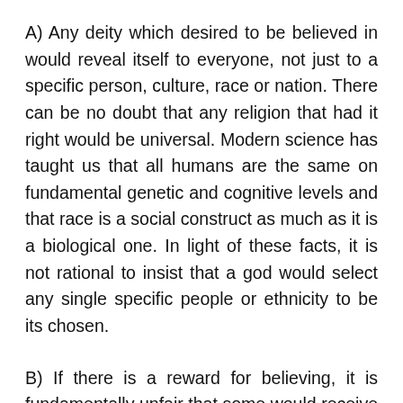A) Any deity which desired to be believed in would reveal itself to everyone, not just to a specific person, culture, race or nation. There can be no doubt that any religion that had it right would be universal. Modern science has taught us that all humans are the same on fundamental genetic and cognitive levels and that race is a social construct as much as it is a biological one. In light of these facts, it is not rational to insist that a god would select any single specific people or ethnicity to be its chosen.
B) If there is a reward for believing, it is fundamentally unfair that some would receive more reliable evidence than others.
C) If there is a punishment for not believing, it is fundamentally unfair that some would receive less